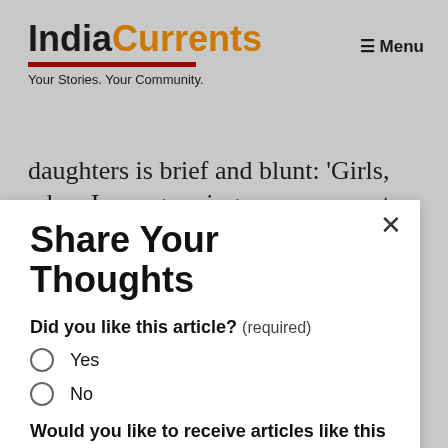IndiaCurrents — Your Stories. Your Community.
daughters is brief and blunt: 'Girls, when I was growing up, my parents used to say to me, 'Tom, finish your dinner—people in China and India are starving.' Mao is in...
Share Your Thoughts
Did you like this article? (required)
Yes
No
Would you like to receive articles like this in your inbox? (required)